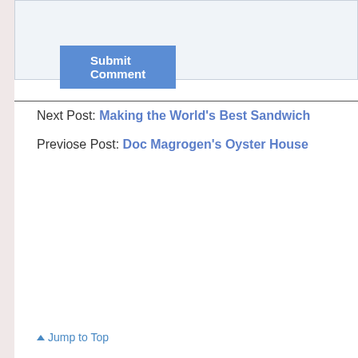Submit Comment
Next Post: Making the World's Best Sandwich
Previose Post: Doc Magrogen's Oyster House
Jump to Top